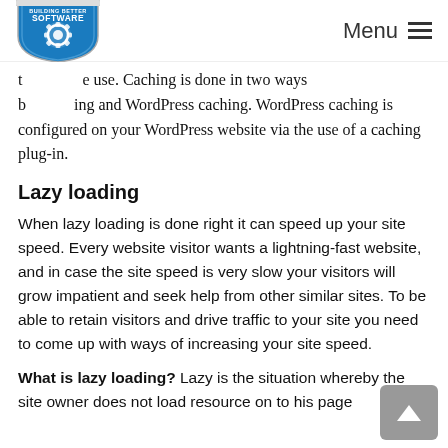BUILDING BETTER SOFTWARE — Menu
t... e use. Caching is done in two ways b... ing and WordPress caching. WordPress caching is configured on your WordPress website via the use of a caching plug-in.
Lazy loading
When lazy loading is done right it can speed up your site speed. Every website visitor wants a lightning-fast website, and in case the site speed is very slow your visitors will grow impatient and seek help from other similar sites. To be able to retain visitors and drive traffic to your site you need to come up with ways of increasing your site speed.
What is lazy loading? Lazy is the situation whereby the site owner does not load resource on to his page